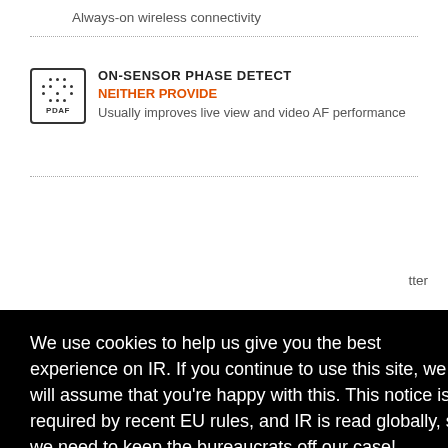Always-on wireless connectivity
ON-SENSOR PHASE DETECT
NEITHER PROVIDE
Usually improves live view and video AF performance
We use cookies to help us give you the best experience on IR. If you continue to use this site, we will assume that you're happy with this. This notice is required by recent EU rules, and IR is read globally, so we need to keep the bureaucrats off our case!
Learn more
Got it!